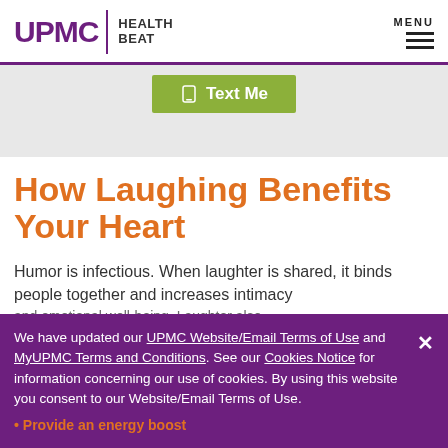UPMC | HEALTH BEAT  MENU
[Figure (screenshot): Green 'Text Me' button with phone icon on a light gray banner background]
How Laughing Benefits Your Heart
Humor is infectious. When laughter is shared, it binds people together and increases intimacy
We have updated our UPMC Website/Email Terms of Use and MyUPMC Terms and Conditions. See our Cookies Notice for information concerning our use of cookies. By using this website you consent to our Website/Email Terms of Use.
Provide an energy boost